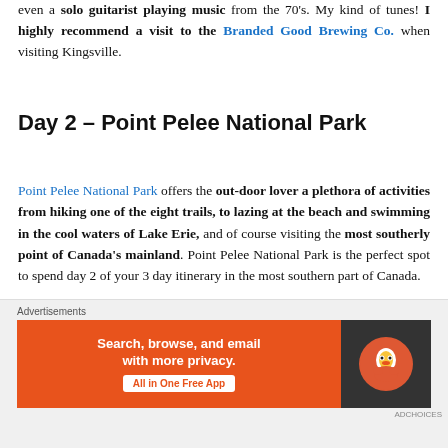even a solo guitarist playing music from the 70's. My kind of tunes! I highly recommend a visit to the Branded Good Brewing Co. when visiting Kingsville.
Day 2 – Point Pelee National Park
Point Pelee National Park offers the out-door lover a plethora of activities from hiking one of the eight trails, to lazing at the beach and swimming in the cool waters of Lake Erie, and of course visiting the most southerly point of Canada's mainland. Point Pelee National Park is the perfect spot to spend day 2 of your 3 day itinerary in the most southern part of Canada.
[Figure (infographic): DuckDuckGo advertisement banner: orange background on left with text 'Search, browse, and email with more privacy. All in One Free App' and a button, dark background on right with DuckDuckGo duck logo. Label 'Advertisements' above.]